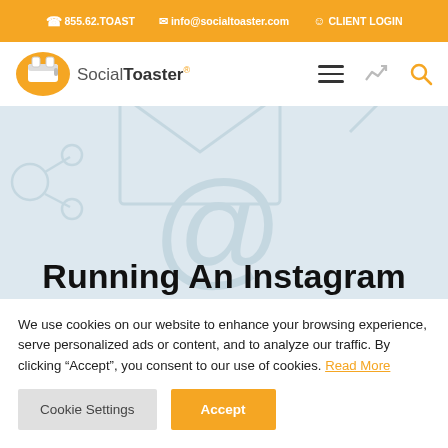855.62.TOAST  info@socialtoaster.com  CLIENT LOGIN
[Figure (logo): SocialToaster logo with toaster icon inside orange speech bubble]
Running An Instagram Contest With
We use cookies on our website to enhance your browsing experience, serve personalized ads or content, and to analyze our traffic. By clicking “Accept”, you consent to our use of cookies. Read More
Cookie Settings  Accept